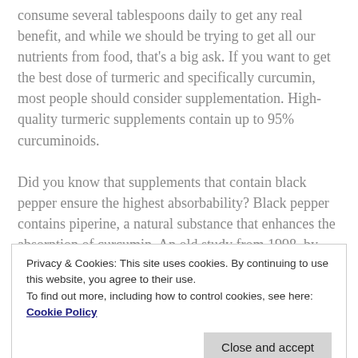consume several tablespoons daily to get any real benefit, and while we should be trying to get all our nutrients from food, that's a big ask. If you want to get the best dose of turmeric and specifically curcumin, most people should consider supplementation. High-quality turmeric supplements contain up to 95% curcuminoids.
Did you know that supplements that contain black pepper ensure the highest absorbability? Black pepper contains piperine, a natural substance that enhances the absorption of curcumin. An old study from 1998, by Shoba et al., found that consuming piperine with
Privacy & Cookies: This site uses cookies. By continuing to use this website, you agree to their use.
To find out more, including how to control cookies, see here: Cookie Policy
traditionally made curry.